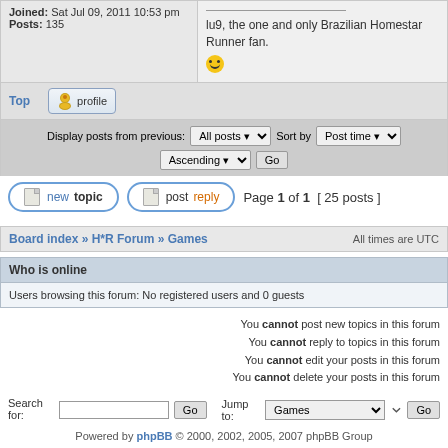Joined: Sat Jul 09, 2011 10:53 pm
Posts: 135
lu9, the one and only Brazilian Homestar Runner fan.
Top
profile
Display posts from previous: All posts Sort by Post time Ascending Go
new topic   post reply   Page 1 of 1 [ 25 posts ]
Board index » H*R Forum » Games   All times are UTC
Who is online
Users browsing this forum: No registered users and 0 guests
You cannot post new topics in this forum
You cannot reply to topics in this forum
You cannot edit your posts in this forum
You cannot delete your posts in this forum
Search for:   Go   Jump to: Games   Go
Powered by phpBB © 2000, 2002, 2005, 2007 phpBB Group